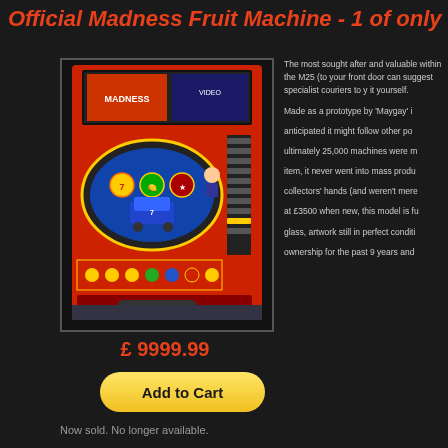Official Madness Fruit Machine - 1 of only 50
[Figure (photo): Madness Fruit Machine - a colorful red arcade/slot machine with Madness band artwork, showing reels, buttons and controls]
£ 9999.99
Add to Cart
The most sought after and valuable within the M25 (to your front door can suggest specialist couriers to y it yourself. Made as a prototype by 'Maygay' i anticipated it might follow other po ultimately 25,000 machines were m item, it never went into mass produ collectors' hands (and weren't mere at £3500 when new, this model is f glass, artwork still in perfect conditi ownership for the past 9 years and
Now sold. No longer available.